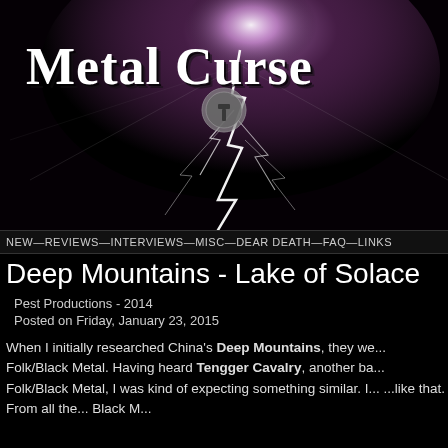[Figure (photo): Metal Curse website header with dramatic lightning storm background and gothic-font logo reading 'Metal Curse' with a Thor's hammer emblem in the center]
NEW—REVIEWS—INTERVIEWS—MISC—DEAR DEATH—FAQ—LINKS
Deep Mountains - Lake of Solace
Pest Productions - 2014
Posted on Friday, January 23, 2015
When I initially researched China's Deep Mountains, they we... Folk/Black Metal. Having heard Tengger Cavalry, another ba... Folk/Black Metal, I was kind of expecting something similar. I... ...like that. From all the... Black M...